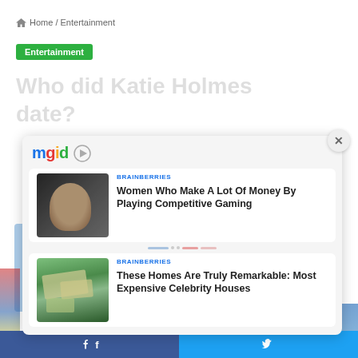Home / Entertainment
Entertainment
Who did Katie Holmes date?
[Figure (screenshot): MGID sponsored content widget showing logo with play button]
[Figure (photo): Woman looking sideways, competitive gaming article thumbnail]
BRAINBERRIES
Women Who Make A Lot Of Money By Playing Competitive Gaming
[Figure (photo): Aerial view of expensive celebrity house]
BRAINBERRIES
These Homes Are Truly Remarkable: Most Expensive Celebrity Houses
Facebook share | Twitter share